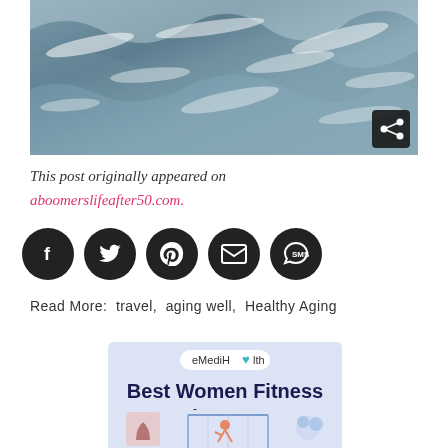[Figure (photo): Ocean waves with white foam and choppy water, aerial or close-up view. A share icon button appears in the bottom-right corner of the image.]
This post originally appeared on
aboomerslifeafter50.com.
[Figure (infographic): Row of five dark circular social sharing icon buttons: Facebook (f), Twitter (bird), Pinterest (P), Email (envelope), SMS (chat bubble)]
Read More: travel, aging well, Healthy Aging
[Figure (infographic): eMediHealth award badge: 'Best Women Fitness Blog 2021' on a light blue/lavender background with small illustration of a woman exercising at a barre and decorative plant illustrations.]